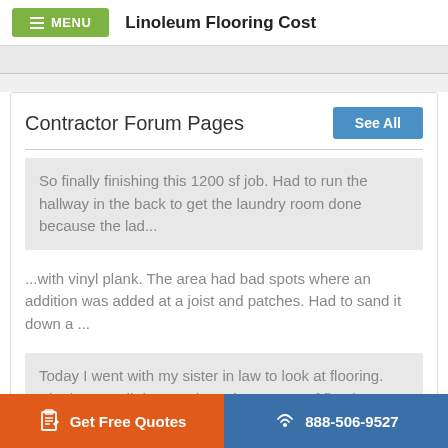MENU  Linoleum Flooring Cost
Contractor Forum Pages
So finally finishing this 1200 sf job. Had to run the hallway in the back to get the laundry room done because the lad...
...with vinyl plank. The area had bad spots where an addition was added at a joist and patches. Had to sand it down a ...
Today I went with my sister in law to look at flooring. She has small dogs and needs waterproof flooring. They suggest...
Get Free Quotes  888-506-9527